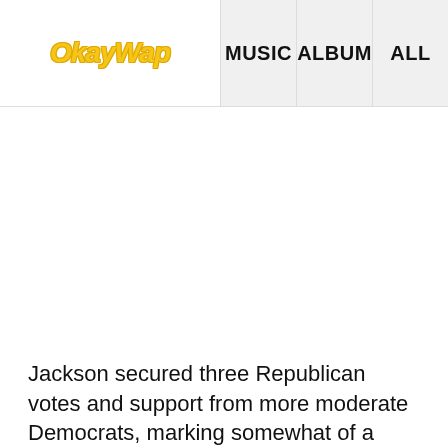[Figure (logo): OkayWap logo in yellow italic bold font]
MUSIC   ALBUM   ALL
Jackson secured three Republican votes and support from more moderate Democrats, marking somewhat of a